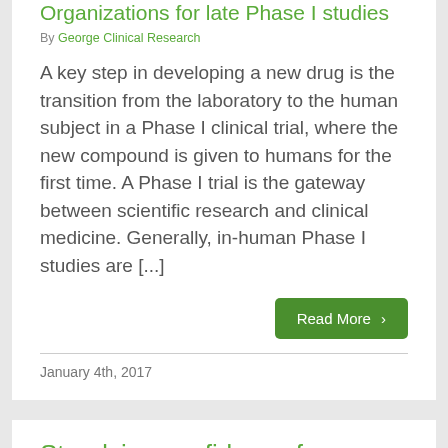Organizations for late Phase I studies
By George Clinical  Research
A key step in developing a new drug is the transition from the laboratory to the human subject in a Phase I clinical trial, where the new compound is given to humans for the first time. A Phase I trial is the gateway between scientific research and clinical medicine. Generally, in-human Phase I studies are [...]
Read More ›
January 4th, 2017
Steadying confidence for clinical trials in India